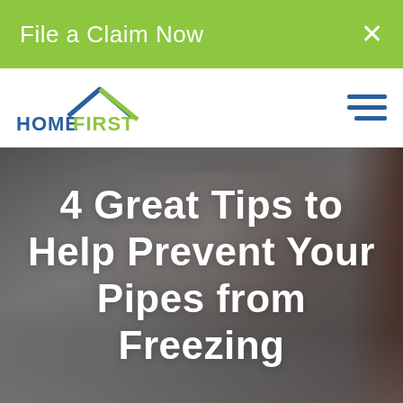File a Claim Now
[Figure (logo): HomeFirst Agency logo with house roofline graphic in blue and green, with the text HOME FIRST AGENCY]
4 Great Tips to Help Prevent Your Pipes from Freezing
[Figure (photo): Blurred grayscale background photo of frozen pipes or winter scene with snow and ice]